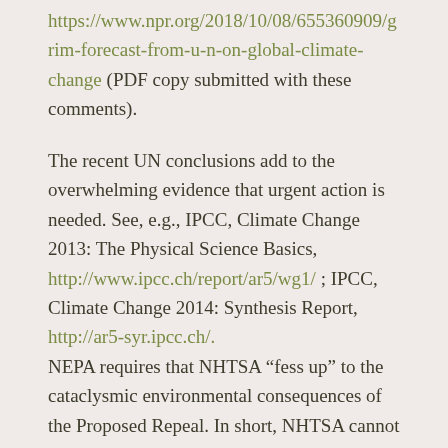https://www.npr.org/2018/10/08/655360909/grim-forecast-from-u-n-on-global-climate-change (PDF copy submitted with these comments).
The recent UN conclusions add to the overwhelming evidence that urgent action is needed. See, e.g., IPCC, Climate Change 2013: The Physical Science Basics, http://www.ipcc.ch/report/ar5/wg1/ ; IPCC, Climate Change 2014: Synthesis Report, http://ar5-syr.ipcc.ch/. NEPA requires that NHTSA “fess up” to the cataclysmic environmental consequences of the Proposed Repeal. In short, NHTSA cannot approve the Proposed Repeal without a new